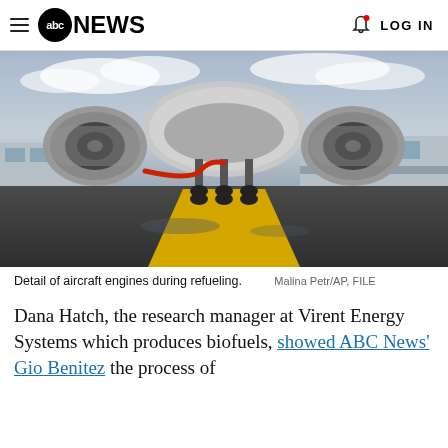abc NEWS  LOG IN
[Figure (photo): Underside view of a commercial aircraft on the tarmac at an airport, showing two large jet engines and landing gear, with a red fuel hose connected, and a yellow taxi line on the wet tarmac below. Airport terminal visible in background.]
Detail of aircraft engines during refueling.
Malina Petr/AP, FILE
Dana Hatch, the research manager at Virent Energy Systems which produces biofuels, showed ABC News' Gio Benitez the process of